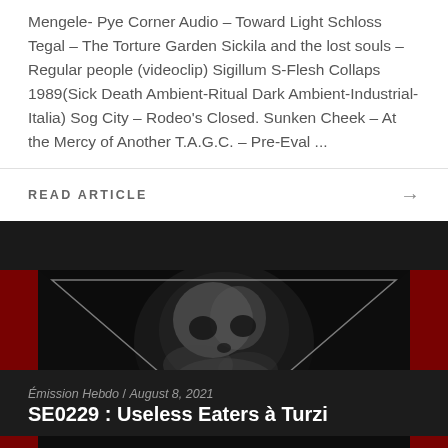Mengele- Pye Corner Audio – Toward Light Schloss Tegal – The Torture Garden Sickila and the lost souls – Regular people (videoclip) Sigillum S-Flesh Collaps 1989(Sick Death Ambient-Ritual Dark Ambient-Industrial-Italia) Sog City – Rodeo's Closed. Sunken Cheek – At the Mercy of Another T.A.G.C. – Pre-Eval ...
READ ARTICLE →
[Figure (photo): Black and white photo of a skull/face with smoke, framed inside a downward-pointing triangle against a dark background, with red sides visible]
Émission Hebdo / August 8, 2021
SE0229 : Useless Eaters à Turzi